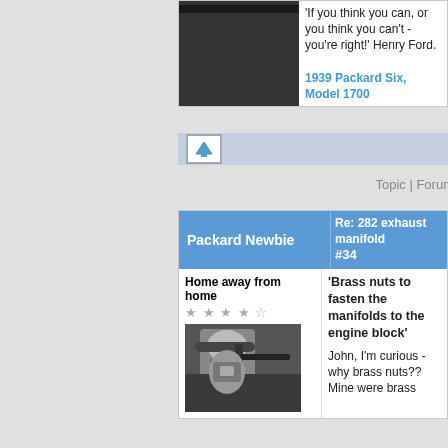[Figure (photo): Partial black and white photo at the top of a forum post]
'If you think you can, or you think you can't - you're right!' Henry Ford.
1939 Packard Six, Model 1700
[Figure (other): Blue up-arrow button on a light blue bar]
Topic | Forum
Packard Newbie
Re: 282 exhaust manifold #34
Home away from home
[Figure (photo): Black and white photo of a man playing a large instrument, wearing a cap]
'Brass nuts to fasten the manifolds to the engine block'
John, I'm curious - why brass nuts?? Mine were brass